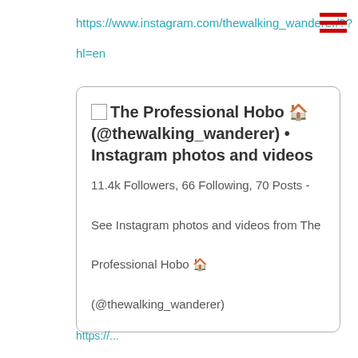https://www.instagram.com/thewalking_wanderer/??
hl=en
[Figure (other): Hamburger menu icon with three red horizontal bars]
The Professional Hobo 🏠 (@thewalking_wanderer) • Instagram photos and videos
11.4k Followers, 66 Following, 70 Posts - See Instagram photos and videos from The Professional Hobo 🏠 (@thewalking_wanderer)
https://...